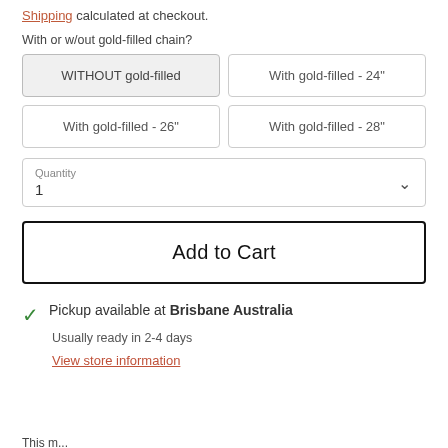Shipping calculated at checkout.
With or w/out gold-filled chain?
WITHOUT gold-filled
With gold-filled - 24"
With gold-filled - 26"
With gold-filled - 28"
Quantity
1
Add to Cart
Pickup available at Brisbane Australia
Usually ready in 2-4 days
View store information
This may contain feature the best experience available the ...